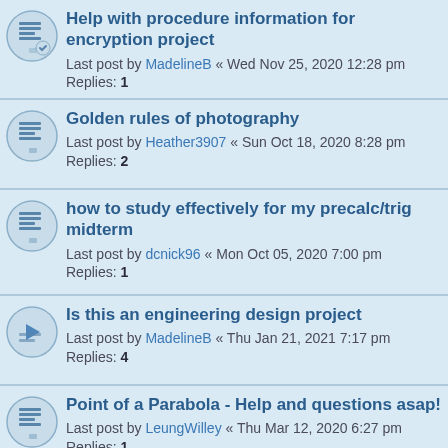Help with procedure information for encryption project
Last post by MadelineB « Wed Nov 25, 2020 12:28 pm
Replies: 1
Golden rules of photography
Last post by Heather3907 « Sun Oct 18, 2020 8:28 pm
Replies: 2
how to study effectively for my precalc/trig midterm
Last post by dcnick96 « Mon Oct 05, 2020 7:00 pm
Replies: 1
Is this an engineering design project
Last post by MadelineB « Thu Jan 21, 2021 7:17 pm
Replies: 4
Point of a Parabola - Help and questions asap!
Last post by LeungWilley « Thu Mar 12, 2020 6:27 pm
Replies: 1
Pick A Card
Last post by AmyCowen « Tue Feb 11, 2020 9:34 am
Replies: 1